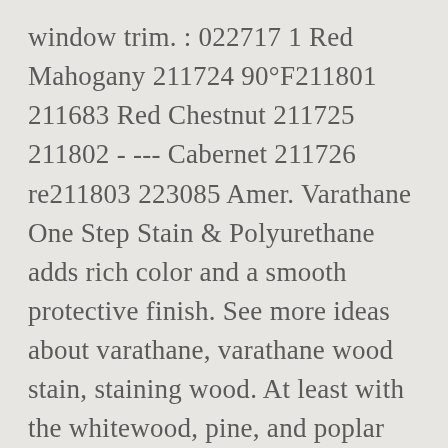window trim. : 022717 1 Red Mahogany 211724 90°F211801 211683 Red Chestnut 211725 211802 - --- Cabernet 211726 re211803 223085 Amer. Varathane One Step Stain & Polyurethane adds rich color and a smooth protective finish. See more ideas about varathane, varathane wood stain, staining wood. At least with the whitewood, pine, and poplar pieces. But, it did settle in the wood grain pretty well. Rust-Oleum Varathane Premium Wood Stains are ideal to use for all interior wooden projects. Please Note: Prices, promotions, styles and availability may vary by store and online. Can Be Used On Fiberglass ... Simply choose your colour and take this tint base to the paint counter for mixing. We are offering a hand